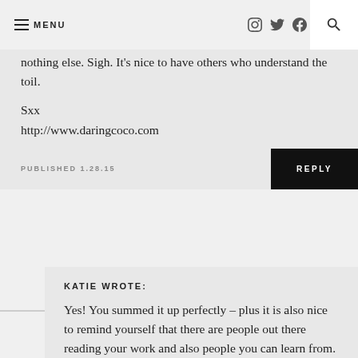≡ MENU  [social icons: instagram, twitter, facebook, pinterest, email]  [search]
nothing else. Sigh. It's nice to have others who understand the toil.

Sxx
http://www.daringcoco.com
PUBLISHED 1.28.15
REPLY
KATIE WROTE:
Yes! You summed it up perfectly – plus it is also nice to remind yourself that there are people out there reading your work and also people you can learn from. xo